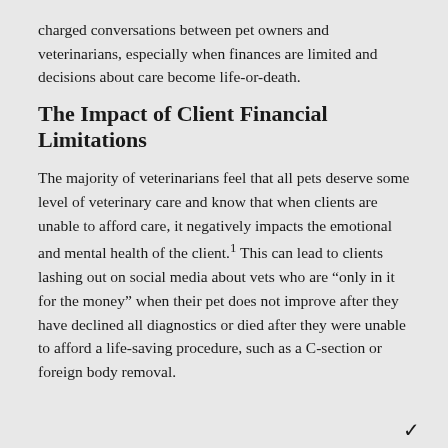charged conversations between pet owners and veterinarians, especially when finances are limited and decisions about care become life-or-death.
The Impact of Client Financial Limitations
The majority of veterinarians feel that all pets deserve some level of veterinary care and know that when clients are unable to afford care, it negatively impacts the emotional and mental health of the client.¹ This can lead to clients lashing out on social media about vets who are “only in it for the money” when their pet does not improve after they have declined all diagnostics or died after they were unable to afford a life-saving procedure, such as a C-section or foreign body removal.